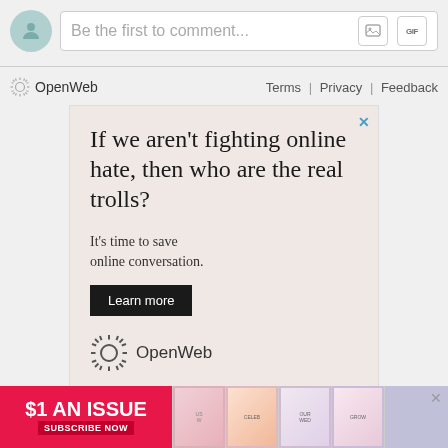Be the first to comment...
OpenWeb   Terms | Privacy | Feedback
[Figure (screenshot): OpenWeb advertisement: 'If we aren't fighting online hate, then who are the real trolls? It's time to save online conversation. Learn more' with OpenWeb logo]
AdChoices ▷   Sponsored
[Figure (screenshot): Bottom banner ad: '$1 AN ISSUE SUBSCRIBE NOW' with Us Weekly magazine covers]